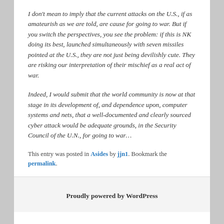I don't mean to imply that the current attacks on the U.S., if as amateurish as we are told, are cause for going to war. But if you switch the perspectives, you see the problem: if this is NK doing its best, launched simultaneously with seven missiles pointed at the U.S., they are not just being devilishly cute. They are risking our interpretation of their mischief as a real act of war.
Indeed, I would submit that the world community is now at that stage in its development of, and dependence upon, computer systems and nets, that a well-documented and clearly sourced cyber attack would be adequate grounds, in the Security Council of the U.N., for going to war…
This entry was posted in Asides by jjn1. Bookmark the permalink.
Proudly powered by WordPress